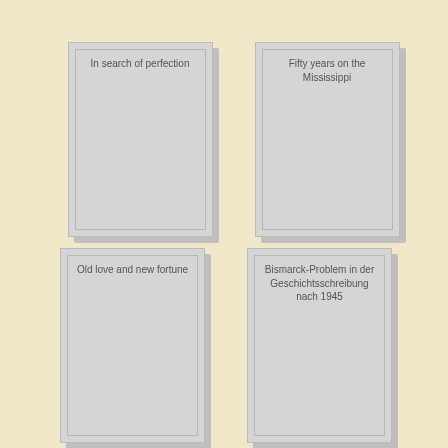[Figure (illustration): Book cover thumbnail for 'In search of perfection' — gray book cover with inner border and title text]
In search of perfection
[Figure (illustration): Book cover thumbnail for 'Fifty years on the Mississippi' — gray book cover with inner border and title text]
Fifty years on the Mississippi
[Figure (illustration): Book cover thumbnail for 'Old love and new fortune' — gray book cover with inner border and title text]
Old love and new fortune
[Figure (illustration): Book cover thumbnail for 'Bismarck-Problem in der Geschichtsschreibung nach 1945' — gray book cover with inner border and title text]
Bismarck-Problem in der Geschichtsschreibung nach 1945